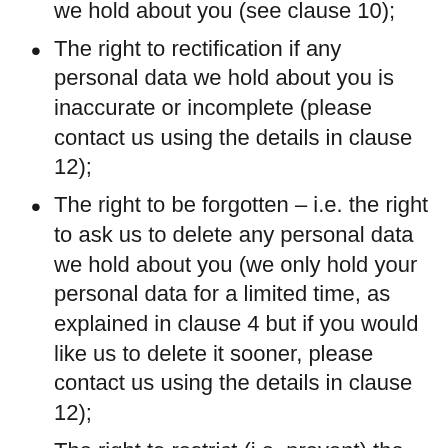we hold about you (see clause 10);
The right to rectification if any personal data we hold about you is inaccurate or incomplete (please contact us using the details in clause 12);
The right to be forgotten – i.e. the right to ask us to delete any personal data we hold about you (we only hold your personal data for a limited time, as explained in clause 4 but if you would like us to delete it sooner, please contact us using the details in clause 12);
The right to restrict (i.e. prevent) the processing of your personal data;
The right to data portability (obtaining a copy of your personal data to re-use with another service or organisation);